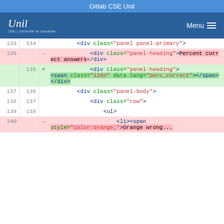Gitlab CSE Unil
[Figure (screenshot): Navigation bar with Unil logo and Menu button on blue background]
Code diff view showing HTML changes. Lines 133-140 shown. Deleted line 136 has <div class="panel-heading">Percent correct answers</div>. Added line 135 has <div class="panel-heading"><span class="i18n" data-lang="perc_correct"></span></div>. Context lines show <div class="panel panel-primary">, <div class="panel-body">, <div class="row">, <ul>, and <li><span style="color:orange;">Orange wrong...